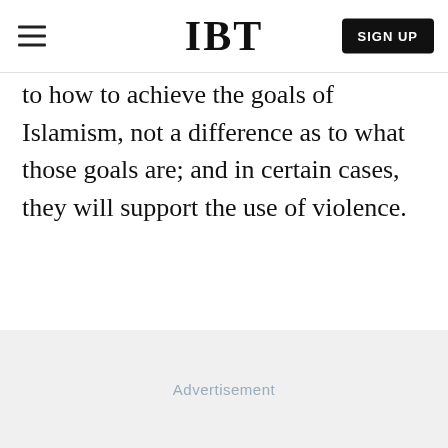IBT
to how to achieve the goals of Islamism, not a difference as to what those goals are; and in certain cases, they will support the use of violence.
[Figure (other): Advertisement placeholder area with light gray background]